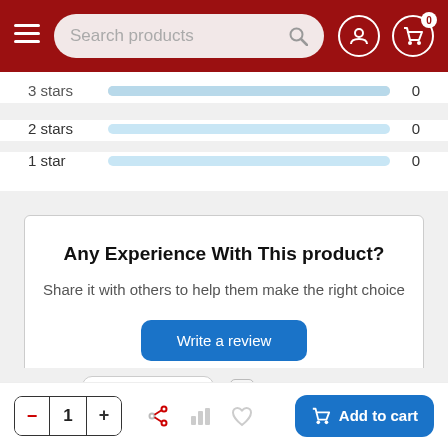[Figure (screenshot): E-commerce website navigation bar with hamburger menu, search box, user icon, and cart icon (badge showing 0) on dark red background]
3 stars  0
2 stars  0
1 star  0
Any Experience With This product?
Share it with others to help them make the right choice
Write a review
Sort by:  Newest first  With photos
- 1 + Add to cart